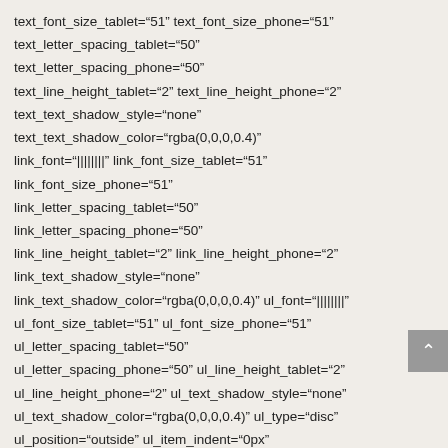text_font_size_tablet="51" text_font_size_phone="51" text_letter_spacing_tablet="50" text_letter_spacing_phone="50" text_line_height_tablet="2" text_line_height_phone="2" text_text_shadow_style="none" text_text_shadow_color="rgba(0,0,0,0.4)" link_font="||||||||" link_font_size_tablet="51" link_font_size_phone="51" link_letter_spacing_tablet="50" link_letter_spacing_phone="50" link_line_height_tablet="2" link_line_height_phone="2" link_text_shadow_style="none" link_text_shadow_color="rgba(0,0,0,0.4)" ul_font="||||||||" ul_font_size_tablet="51" ul_font_size_phone="51" ul_letter_spacing_tablet="50" ul_letter_spacing_phone="50" ul_line_height_tablet="2" ul_line_height_phone="2" ul_text_shadow_style="none" ul_text_shadow_color="rgba(0,0,0,0.4)" ul_type="disc" ul_position="outside" ul_item_indent="0px" ol_font="||||||||" ol_font_size_tablet="51"